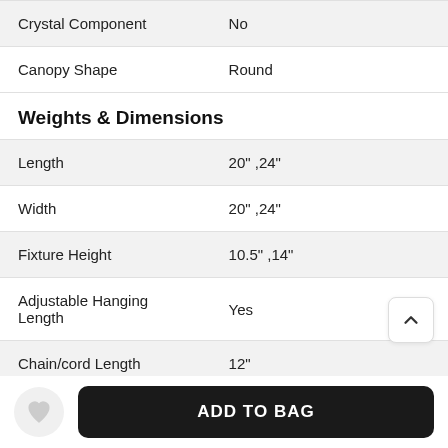| Property | Value |
| --- | --- |
| Crystal Component | No |
| Canopy Shape | Round |
Weights & Dimensions
| Property | Value |
| --- | --- |
| Length | 20" ,24" |
| Width | 20" ,24" |
| Fixture Height | 10.5" ,14" |
| Adjustable Hanging Length | Yes |
| Chain/cord Length | 12" |